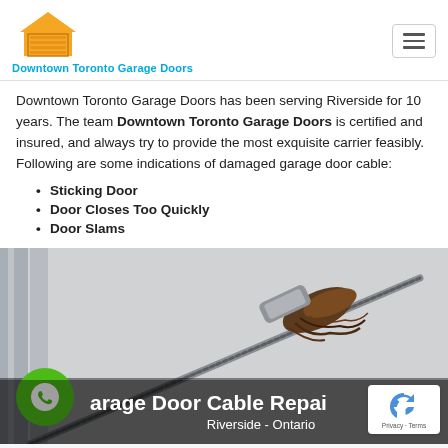[Figure (logo): Downtown Toronto Garage Doors logo: orange house/garage door icon above the brand name in teal/blue text]
Downtown Toronto Garage Doors has been serving Riverside for 10 years. The team Downtown Toronto Garage Doors is certified and insured, and always try to provide the most exquisite carrier feasibly. Following are some indications of damaged garage door cable:
Sticking Door
Door Closes Too Quickly
Door Slams
[Figure (photo): Close-up photo of a frayed and broken garage door cable against a light background, with a green phone/WhatsApp button in the lower left. Text overlay reads 'Garage Door Cable Repair' and 'Riverside - Ontario'. A reCAPTCHA badge appears in the lower right corner.]